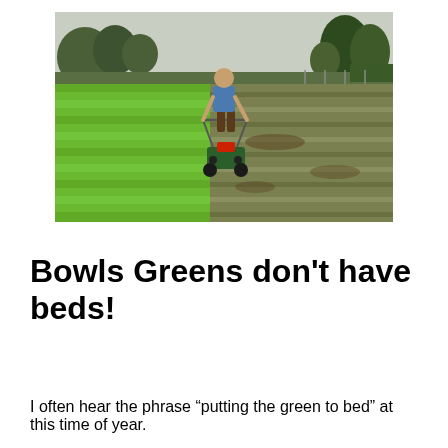[Figure (photo): A man operating a ride-on lawn mower on a bowling green, cutting across the green surface. The left side shows neatly mowed short bright green grass, while the right side shows longer, rougher, darker brownish-green grass. Trees and hedges are visible in the background.]
Bowls Greens don't have beds!
I often hear the phrase “putting the green to bed” at this time of year.